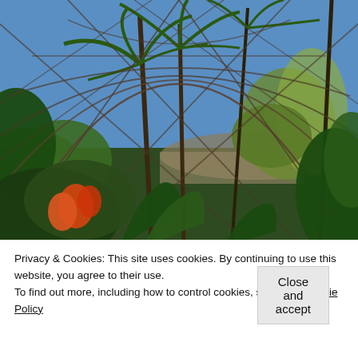[Figure (photo): Interior view of a large geodesic dome greenhouse with tropical palm trees, lush green vegetation, orange/red flowers in the foreground, and a blue sky visible through the dome structure's triangular framework.]
Privacy & Cookies: This site uses cookies. By continuing to use this website, you agree to their use.
To find out more, including how to control cookies, see here: Cookie Policy